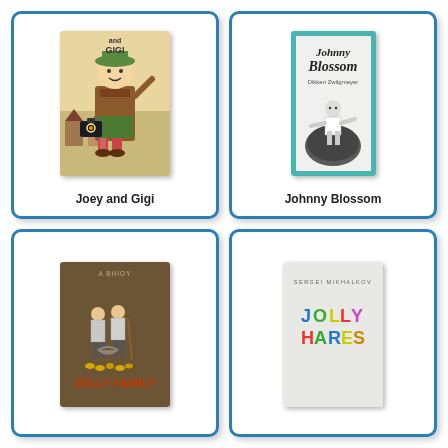[Figure (photo): Book cover of 'Joey and Gigi' showing an illustrated boy in a green hat and brown jacket carrying a suitcase, with a village background]
Joey and Gigi
[Figure (photo): Book cover of 'Johnny Blossom' with a teal border, showing a boy sitting on a large round object, black and white illustration]
Johnny Blossom
[Figure (photo): Book cover of 'Jolly Family' showing two figures standing near a basket with small yellow objects, dark brown background]
[Figure (photo): Book cover of 'Jolly Hares' with colorful letters on a light gray cover, author name at top]